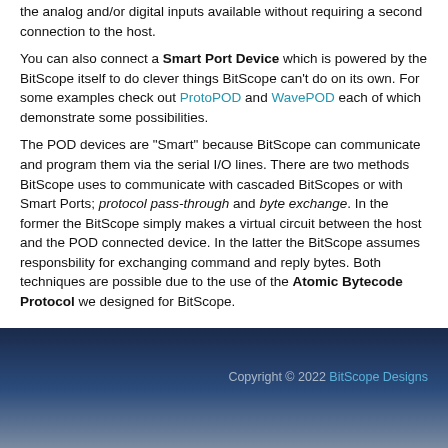the analog and/or digital inputs available without requiring a second connection to the host.
You can also connect a Smart Port Device which is powered by the BitScope itself to do clever things BitScope can't do on its own. For some examples check out ProtoPOD and WavePOD each of which demonstrate some possibilities.
The POD devices are "Smart" because BitScope can communicate and program them via the serial I/O lines. There are two methods BitScope uses to communicate with cascaded BitScopes or with Smart Ports; protocol pass-through and byte exchange. In the former the BitScope simply makes a virtual circuit between the host and the POD connected device. In the latter the BitScope assumes responsbility for exchanging command and reply bytes. Both techniques are possible due to the use of the Atomic Bytecode Protocol we designed for BitScope.
Copyright © 2022 BitScope Designs